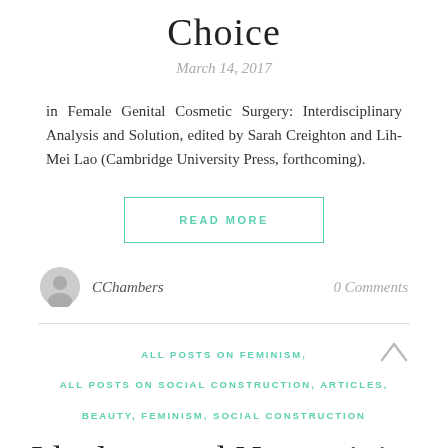Choice
March 14, 2017
in Female Genital Cosmetic Surgery: Interdisciplinary Analysis and Solution, edited by Sarah Creighton and Lih-Mei Lao (Cambridge University Press, forthcoming).
READ MORE
CChambers
0 Comments
ALL POSTS ON FEMINISM, ALL POSTS ON SOCIAL CONSTRUCTION, ARTICLES, BEAUTY, FEMINISM, SOCIAL CONSTRUCTION
Ideology and Normativity